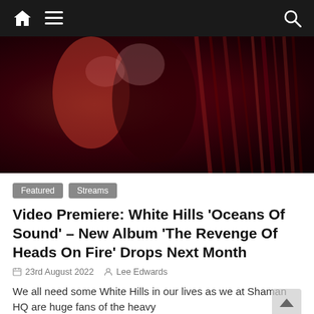Navigation bar with home, menu, and search icons
[Figure (photo): Two people in red-tinted lighting, one in a red feathered outfit, posing dramatically against a backdrop of red streaks/lights]
Featured  Streams
Video Premiere: White Hills 'Oceans Of Sound' – New Album 'The Revenge Of Heads On Fire' Drops Next Month
23rd August 2022   Lee Edwards
We all need some White Hills in our lives as we at Shaman HQ are huge fans of the heavy